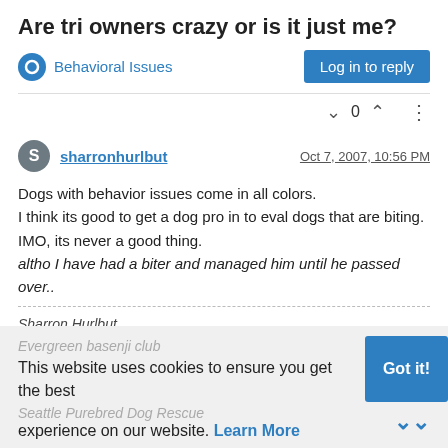Are tri owners crazy or is it just me?
Behavioral Issues
Log in to reply
^ 0 v
sharronhurlbut   Oct 7, 2007, 10:56 PM
Dogs with behavior issues come in all colors.
I think its good to get a dog pro in to eval dogs that are biting.
IMO, its never a good thing.
altho I have had a biter and managed him until he passed over..
Sharron Hurlbut

BRAT, basenji rescue

Evergreen basenji club

Seattle Purebred Dog Rescue
This website uses cookies to ensure you get the best experience on our website. Learn More